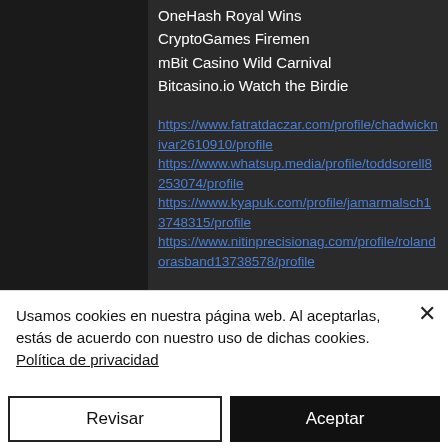OneHash Royal Wins
CryptoGames Firemen
mBit Casino Wild Carnival
Bitcasino.io Watch the Birdie
https://www.fatratdaczar.com/profile/chadwicknivar2610910/profile
https://www.whatsup.media/profile/toddsorell8253074/profile
https://www.kyapuk.com/profile/jamarmalsch13748315/profile
https://www.nitinprecisionag.com/profile/rolandorasband13738578/profile
Usamos cookies en nuestra página web. Al aceptarlas, estás de acuerdo con nuestro uso de dichas cookies. Política de privacidad